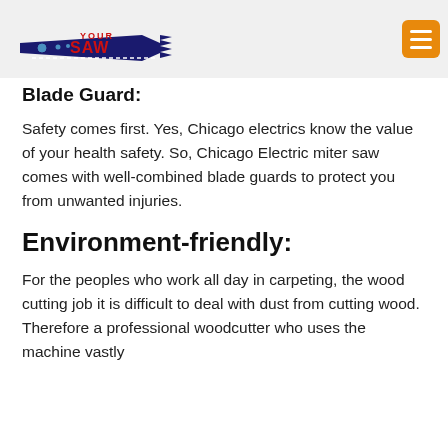YOUR SAW logo with menu button
Blade Guard:
Safety comes first. Yes, Chicago electrics know the value of your health safety. So, Chicago Electric miter saw comes with well-combined blade guards to protect you from unwanted injuries.
Environment-friendly:
For the peoples who work all day in carpeting, the wood cutting job it is difficult to deal with dust from cutting wood. Therefore a professional woodcutter who uses the machine vastly